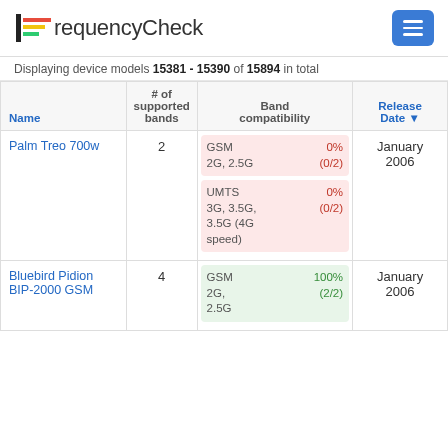FrequencyCheck
Displaying device models 15381 - 15390 of 15894 in total
| Name | # of supported bands | Band compatibility | Release Date |
| --- | --- | --- | --- |
| Palm Treo 700w | 2 | GSM 2G, 2.5G 0% (0/2) | UMTS 3G, 3.5G, 3.5G (4G speed) 0% (0/2) | January 2006 |
| Bluebird Pidion BIP-2000 GSM | 4 | GSM 2G, 2.5G 100% (2/2) | January 2006 |